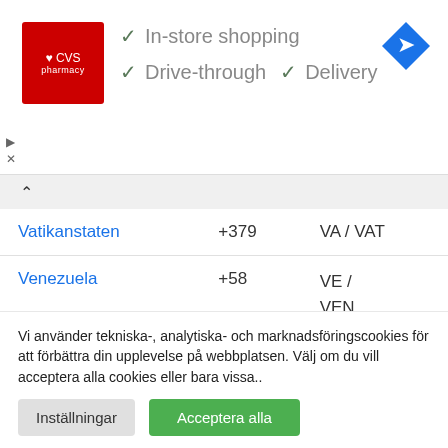[Figure (screenshot): CVS Pharmacy advertisement banner showing logo and store features: In-store shopping, Drive-through, Delivery. Navigation turn icon on right.]
| Country | Code | Abbreviation |
| --- | --- | --- |
| Vatikanstaten | +379 | VA / VAT |
| Venezuela | +58 | VE / VEN |
| Vietnam | +84 | VN / VNM |
Vi använder tekniska-, analytiska- och marknadsföringscookies för att förbättra din upplevelse på webbplatsen. Välj om du vill acceptera alla cookies eller bara vissa..
Inställningar
Acceptera alla